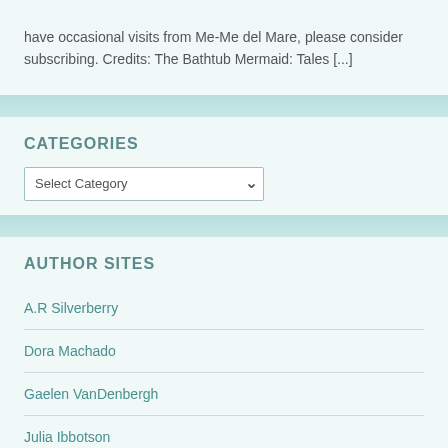have occasional visits from Me-Me del Mare, please consider subscribing. Credits: The Bathtub Mermaid: Tales [...]
CATEGORIES
Select Category
AUTHOR SITES
A.R Silverberry
Dora Machado
Gaelen VanDenbergh
Julia Ibbotson